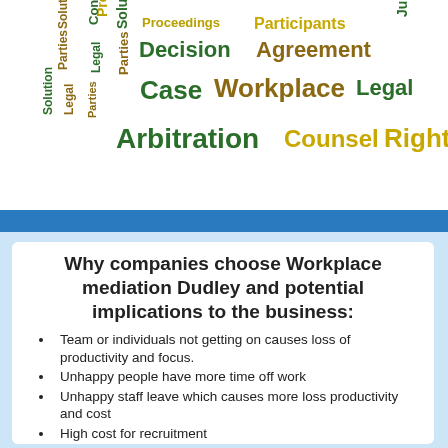[Figure (illustration): Word cloud with legal and workplace dispute terms including: Proceedings, Participants, Jurisdiction, Solution, Contents, Solutions, Decision, Agreement, Parties, Legal, Case, Workplace, Legal, Arbitration, Counsel, Rights]
Why companies choose Workplace mediation Dudley and potential implications to the business:
Team or individuals not getting on causes loss of productivity and focus.
Unhappy people have more time off work
Unhappy staff leave which causes more loss productivity and cost
High cost for recruitment
Wider impact on the business and culture